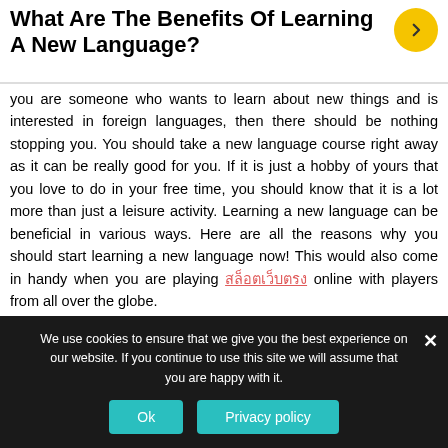What Are The Benefits Of Learning A New Language?
you are someone who wants to learn about new things and is interested in foreign languages, then there should be nothing stopping you. You should take a new language course right away as it can be really good for you. If it is just a hobby of yours that you love to do in your free time, you should know that it is a lot more than just a leisure activity. Learning a new language can be beneficial in various ways. Here are all the reasons why you should start learning a new language now! This would also come in handy when you are playing สล็อตเว็บตรง online with players from all over the globe.
We use cookies to ensure that we give you the best experience on our website. If you continue to use this site we will assume that you are happy with it.